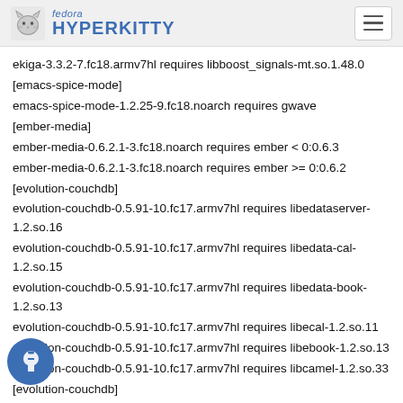fedora HYPERKITTY
ekiga-3.3.2-7.fc18.armv7hl requires libboost_signals-mt.so.1.48.0
[emacs-spice-mode]
emacs-spice-mode-1.2.25-9.fc18.noarch requires gwave
[ember-media]
ember-media-0.6.2.1-3.fc18.noarch requires ember < 0:0.6.3
ember-media-0.6.2.1-3.fc18.noarch requires ember >= 0:0.6.2
[evolution-couchdb]
evolution-couchdb-0.5.91-10.fc17.armv7hl requires libedataserver-1.2.so.16
evolution-couchdb-0.5.91-10.fc17.armv7hl requires libedata-cal-1.2.so.15
evolution-couchdb-0.5.91-10.fc17.armv7hl requires libedata-book-1.2.so.13
evolution-couchdb-0.5.91-10.fc17.armv7hl requires libecal-1.2.so.11
evolution-couchdb-0.5.91-10.fc17.armv7hl requires libebook-1.2.so.13
evolution-couchdb-0.5.91-10.fc17.armv7hl requires libcamel-1.2.so.33
[evolution-couchdb]